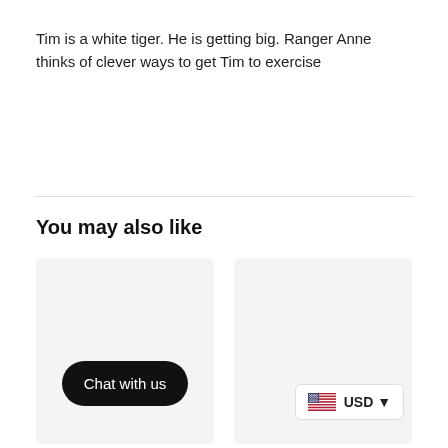Tim is a white tiger. He is getting big. Ranger Anne thinks of clever ways to get Tim to exercise
You may also like
[Figure (screenshot): Two product card placeholders side by side. Left card has a 'Chat with us' button in black rounded rectangle. Right card has a USD currency selector widget with US flag.]